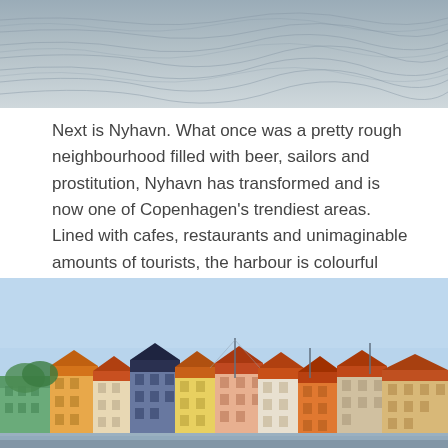[Figure (photo): Close-up of water surface showing ripples and waves, dark grayish-blue tones]
Next is Nyhavn. What once was a pretty rough neighbourhood filled with beer, sailors and prostitution, Nyhavn has transformed and is now one of Copenhagen's trendiest areas. Lined with cafes, restaurants and unimaginable amounts of tourists, the harbour is colourful and great for romantic strolls at dusk.
[Figure (photo): Nyhavn harbour in Copenhagen showing colourful historic buildings with orange and red rooftops along the waterfront under a clear blue sky]